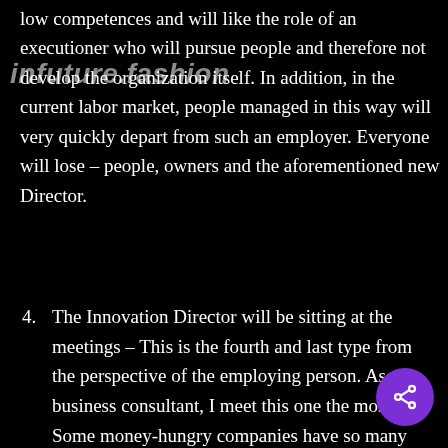infuture.fashion
low competences and will like the role of an executioner who will pursue people and therefore not develop the organization itself. In addition, in the current labor market, people managed in this way will very quickly depart from such an employer. Everyone will lose – people, owners and the aforementioned new Director.
4. The Innovation Director will be sitting at the meetings – This is the fourth and last type from the perspective of the employing person. As a business consultant, I meet this one the most. Some money-hungry companies have so many things to agree that they organize and sit at meetings endlessly. Of course,